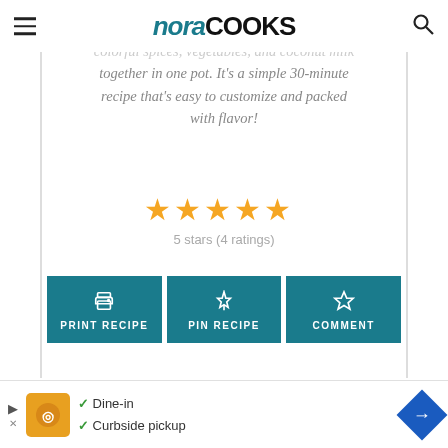nora COOKS
colorful spices, vegetables, and coconut milk together in one pot. It's a simple 30-minute recipe that's easy to customize and packed with flavor!
[Figure (other): 5 gold star rating icons]
5 stars (4 ratings)
[Figure (other): Three teal buttons: PRINT RECIPE, PIN RECIPE, COMMENT]
[Figure (other): Advertisement bar with Dine-in and Curbside pickup options]